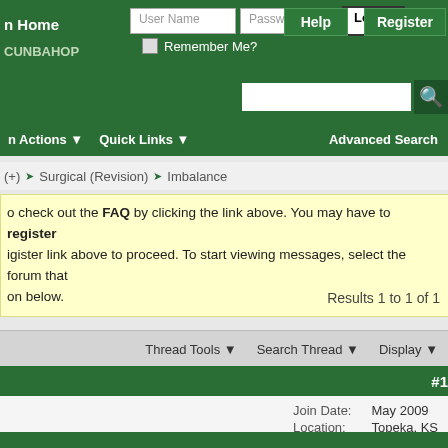n Home | User Name | Password | Log in | Help | Register | Remember Me?
Advanced Search
n Actions ▼  Quick Links ▼  Advanced Search
(+) ❧ Surgical (Revision) ❧ Imbalance
o check out the FAQ by clicking the link above. You may have to register igister link above to proceed. To start viewing messages, select the forum that on below.
Results 1 to 1 of 1
Thread Tools ▼  Search Thread ▼  Display ▼
#1
| Field | Value |
| --- | --- |
| Join Date: | May 2009 |
| Location: | Topeka, KS |
| Posts: | 444 |